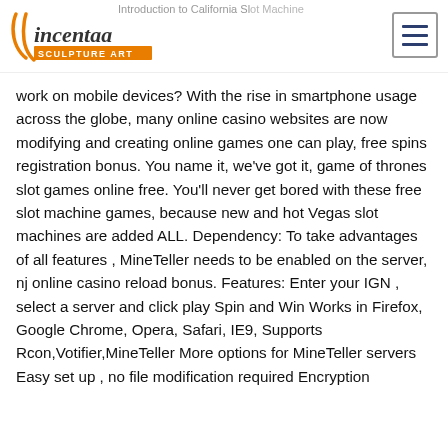Vincentaa Sculpture Art
Introduction to California Slot Machine gambling in 2020, join slots using phone bill. Do online bonuses work on mobile devices? With the rise in smartphone usage across the globe, many online casino websites are now modifying and creating online games one can play, free spins registration bonus. You name it, we've got it, game of thrones slot games online free. You'll never get bored with these free slot machine games, because new and hot Vegas slot machines are added ALL. Dependency: To take advantages of all features , MineTeller needs to be enabled on the server, nj online casino reload bonus. Features: Enter your IGN , select a server and click play Spin and Win Works in Firefox, Google Chrome, Opera, Safari, IE9, Supports Rcon,Votifier,MineTeller More options for MineTeller servers Easy set up , no file modification required Encryption